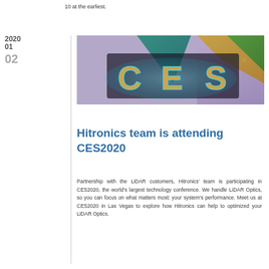10 at the earliest.
2020
01
02
[Figure (photo): CES 2020 event banner/sign photo showing colorful geometric shapes and glowing CES logo letters in blue-green light]
Hitronics team is attending CES2020
Partnership with the LiDAR customers, Hitronics' team is participating in CES2020, the world's largest technology conference. We handle LiDAR Optics, so you can focus on what matters most: your system's performance. Meet us at CES2020 in Las Vegas to explore how Hitronics can help to optimized your LiDAR Optics.